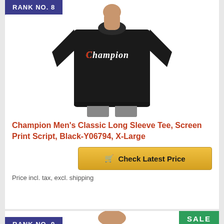[Figure (photo): Person wearing a black Champion Men's Classic Long Sleeve Tee with script logo on chest]
RANK NO. 8
Champion Men's Classic Long Sleeve Tee, Screen Print Script, Black-Y06794, X-Large
🛒 Check Latest Price
Price incl. tax, excl. shipping
RANK NO. 9
SALE